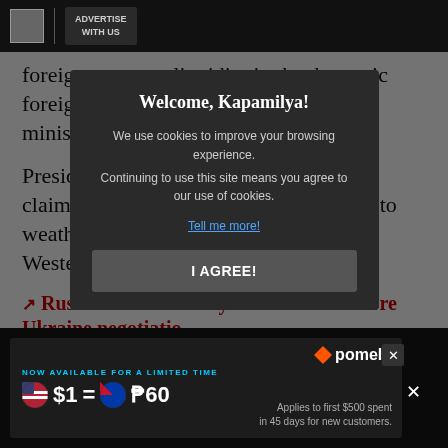ADVERTISE WITH US
foreign currency liquidity in the domestic foreign exchange market," the finance ministry said.
President Vladimir Putin has repeatedly claimed Russia's economy has managed to weather the barrage of unprecedented Western sanctions.
🔗 Russian rouble steady in Moscow as more Ukraine negotiatio...
🔗 Moscow... me: Russian administration...
🔗 Rouble-... s hit Russian cu...
RELATED V...
[Figure (screenshot): Cookie consent modal dialog: 'Welcome, Kapamilya! We use cookies to improve your browsing experience. Continuing to use this site means you agree to our use of cookies. Tell me more! I AGREE!']
[Figure (infographic): Advertisement banner: NOW AVAILABLE FOR A LIMITED TIME, $1 = ₱60, pomelo logo, Applies to first $500 spent in 45 days for new customers.]